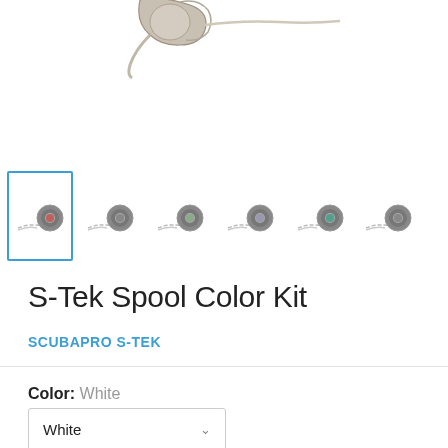[Figure (photo): Partial top view of a scuba diving spool/reel product with clip, cropped at top of page]
[Figure (photo): Horizontal strip of product thumbnail images showing spool color kit variants; first thumbnail is selected with blue border]
S-Tek Spool Color Kit
SCUBAPRO S-TEK
Color: White
White